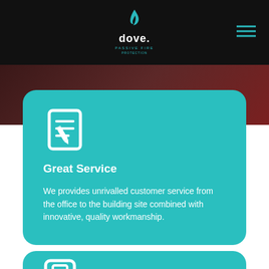[Figure (logo): Dove logo with teal flame icon and text 'dove.' on black header background]
[Figure (illustration): Document/contract with pencil icon in white on teal card]
Great Service
We provides unrivalled customer service from the office to the building site combined with innovative, quality workmanship.
[Figure (illustration): Partial second teal card visible at bottom with a white icon]